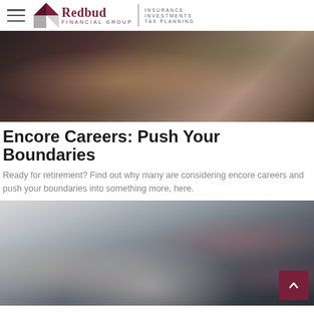Redbud Financial Group — Insurance, Investments, Tax Planning
[Figure (photo): Close-up photo of a person holding a drink, with plants visible in the background, dark-toned image]
Encore Careers: Push Your Boundaries
Ready for retirement? Find out why many are considering encore careers and push your boundaries into something more, here.
[Figure (photo): Photo of a woman stretching or warming up in front of a rock climbing wall with colorful holds]